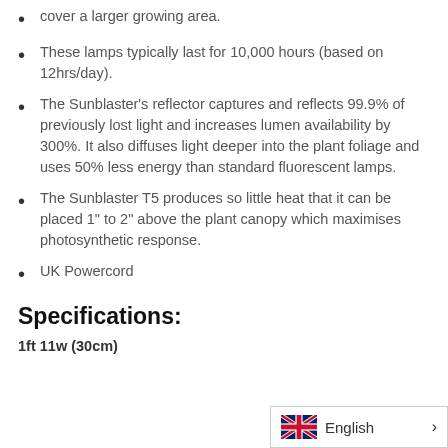cover a larger growing area.
These lamps typically last for 10,000 hours (based on 12hrs/day).
The Sunblaster’s reflector captures and reflects 99.9% of previously lost light and increases lumen availability by 300%. It also diffuses light deeper into the plant foliage and uses 50% less energy than standard fluorescent lamps.
The Sunblaster T5 produces so little heat that it can be placed 1” to 2” above the plant canopy which maximises photosynthetic response.
UK Powercord
Specifications:
1ft 11w (30cm)
[Figure (other): UK flag icon with English language selector and arrow]